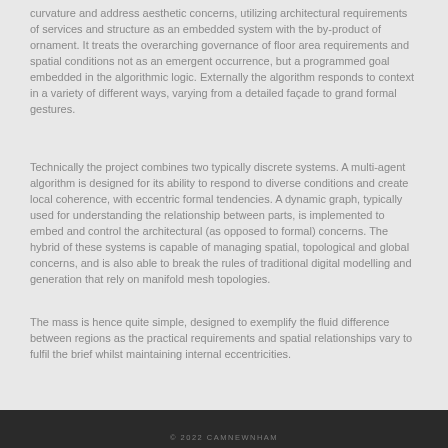curvature and address aesthetic concerns, utilizing architectural requirements of services and structure as an embedded system with the by-product of ornament. It treats the overarching governance of floor area requirements and spatial conditions not as an emergent occurrence, but a programmed goal embedded in the algorithmic logic. Externally the algorithm responds to context in a variety of different ways, varying from a detailed façade to grand formal gestures.
Technically the project combines two typically discrete systems. A multi-agent algorithm is designed for its ability to respond to diverse conditions and create local coherence, with eccentric formal tendencies. A dynamic graph, typically used for understanding the relationship between parts, is implemented to embed and control the architectural (as opposed to formal) concerns. The hybrid of these systems is capable of managing spatial, topological and global concerns, and is also able to break the rules of traditional digital modelling and generation that rely on manifold mesh topologies.
The mass is hence quite simple, designed to exemplify the fluid difference between regions as the practical requirements and spatial relationships vary to fulfil the brief whilst maintaining internal eccentricities.
© 2022 CAMNEWNHAM